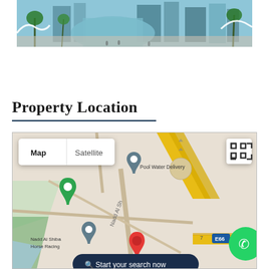[Figure (photo): Aerial/street view of modern futuristic city with palm trees, glass buildings, and white sculptural structures]
Property Location
[Figure (screenshot): Google Map screenshot showing area around Nadd Al Shiba Horse Racing, Pool Water Delivery, with Map/Satellite toggle and search bar. Shows road E66 and Nadd Al Sh street.]